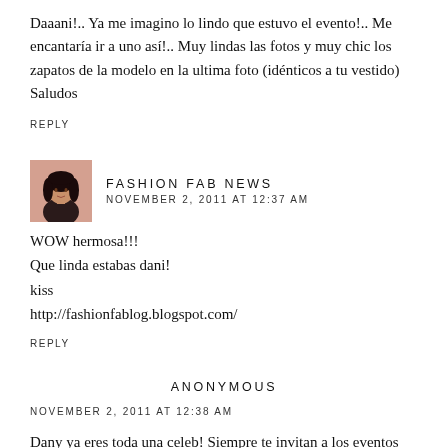Daaani!.. Ya me imagino lo lindo que estuvo el evento!.. Me encantaría ir a uno así!.. Muy lindas las fotos y muy chic los zapatos de la modelo en la ultima foto (idénticos a tu vestido) Saludos
REPLY
FASHION FAB NEWS
NOVEMBER 2, 2011 AT 12:37 AM
WOW hermosa!!!
Que linda estabas dani!
kiss
http://fashionfablog.blogspot.com/
REPLY
ANONYMOUS
NOVEMBER 2, 2011 AT 12:38 AM
Dany ya eres toda una celeb! Siempre te invitan a los eventos